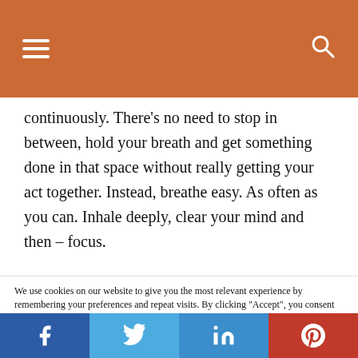Navigation header with hamburger menu and search icon
continuously. There’s no need to stop in between, hold your breath and get something done in that space without really getting your act together. Instead, breathe easy. As often as you can. Inhale deeply, clear your mind and then – focus.
We use cookies on our website to give you the most relevant experience by remembering your preferences and repeat visits. By clicking “Accept”, you consent to the use of ALL the cookies. Do not sell my personal information.
Social share bar: Facebook, Twitter, LinkedIn, Pinterest